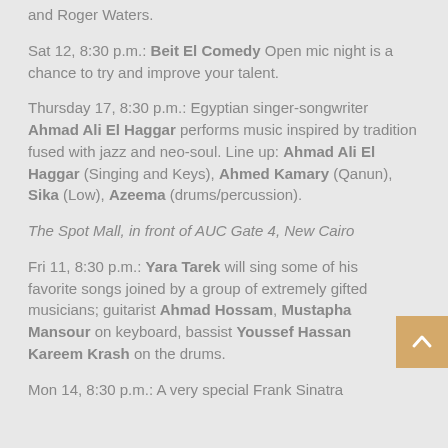and Roger Waters.
Sat 12, 8:30 p.m.: Beit El Comedy Open mic night is a chance to try and improve your talent.
Thursday 17, 8:30 p.m.: Egyptian singer-songwriter Ahmad Ali El Haggar performs music inspired by tradition fused with jazz and neo-soul. Line up: Ahmad Ali El Haggar (Singing and Keys), Ahmed Kamary (Qanun), Sika (Low), Azeema (drums/percussion).
The Spot Mall, in front of AUC Gate 4, New Cairo
Fri 11, 8:30 p.m.: Yara Tarek will sing some of his favorite songs joined by a group of extremely gifted musicians; guitarist Ahmad Hossam, Mustapha Mansour on keyboard, bassist Youssef Hassan Kareem Krash on the drums.
Mon 14, 8:30 p.m.: A very special Frank Sinatra